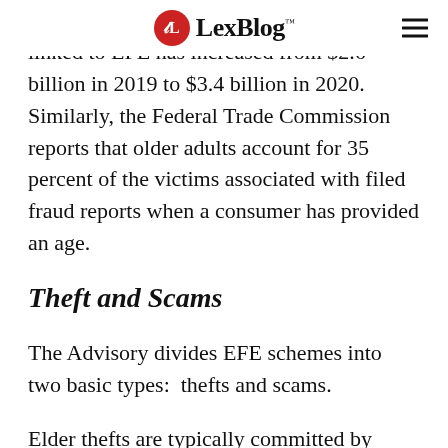LexBlog
dollar value of suspicious transactions linked to EFE has increased from $2.6 billion in 2019 to $3.4 billion in 2020.  Similarly, the Federal Trade Commission reports that older adults account for 35 percent of the victims associated with filed fraud reports when a consumer has provided an age.
Theft and Scams
The Advisory divides EFE schemes into two basic types:  thefts and scams.
Elder thefts are typically committed by known and trusted persons of older adults, such as